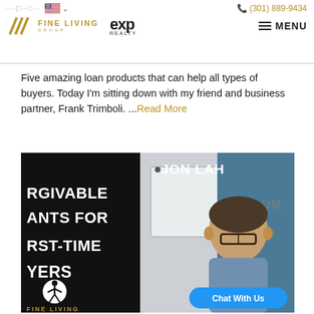Fine Living Group | eXp Realty | (301) 889-9434 | MENU
Five amazing loan products that can help all types of buyers. Today I'm sitting down with my friend and business partner, Frank Trimboli. ...Read More
[Figure (screenshot): Video thumbnail showing text 'RGIVABLE ANTS FOR RST-TIME YERS' (Forgivable Grants for First-Time Buyers) on dark background with a man (Jon Lah) sitting at a desk with Vellum Mortgage branding, and a 'Chat With Us' button overlay. Fine Living Group logo at bottom.]